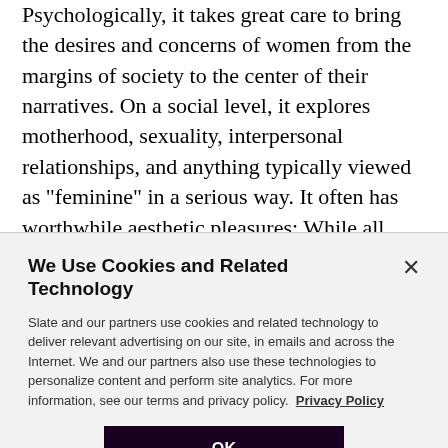Psychologically, it takes great care to bring the desires and concerns of women from the margins of society to the center of their narratives. On a social level, it explores motherhood, sexuality, interpersonal relationships, and anything typically viewed as "feminine" in a serious way. It often has worthwhile aesthetic pleasures: While all films should use costuming to signal information about character, the women's picture directly links what a woman wears to
We Use Cookies and Related Technology
Slate and our partners use cookies and related technology to deliver relevant advertising on our site, in emails and across the Internet. We and our partners also use these technologies to personalize content and perform site analytics. For more information, see our terms and privacy policy. Privacy Policy
OK